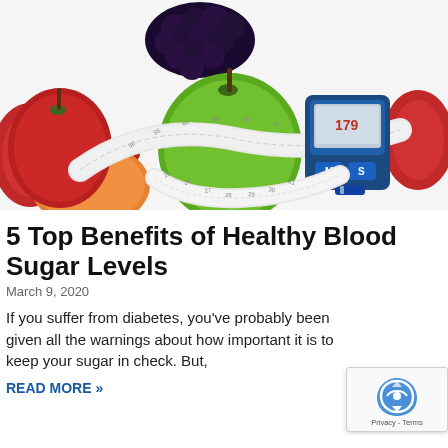[Figure (photo): Photo showing healthy foods (green apple, red apple, grapes, orange) with a measuring tape wrapped around the green apple, red dumbbells, and a blood glucose meter — all arranged together on a white background.]
5 Top Benefits of Healthy Blood Sugar Levels
March 9, 2020
If you suffer from diabetes, you've probably been given all the warnings about how important it is to keep your sugar in check. But,
READ MORE »